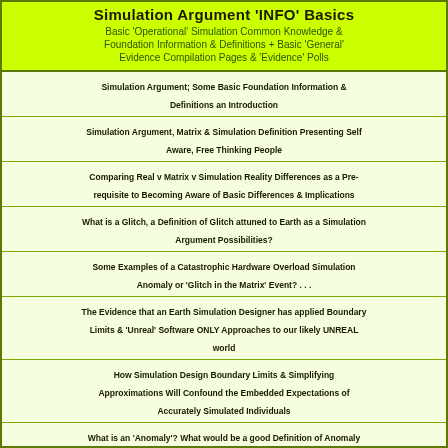Simulation Argument 'INFO' Basics
Basic 'Operational' Simulation Common Knowledge & Foundation Information & Definitions + Basic 'General' Evidence Compilation Pages & 'Evidence' Polls
Simulation Argument; Some Basic Foundation Information & Definitions an Introduction
Simulation Argument, Matrix & Simulation Definition Presenting Self Aware, Free Thinking People
Comparing Real v Matrix v Simulation Reality Differences as a Pre-requisite to Becoming Aware of Basic Differences & Implications
What is a Glitch, a Definition of Glitch attuned to Earth as a Simulation Argument Possibilities?
Some Examples of a Catastrophic Hardware Overload Simulation Anomaly or 'Glitch in the Matrix' Event? . . .
The Evidence that an Earth Simulation Designer has applied Boundary Limits & 'Unreal' Software ONLY Approaches to our likely UNREAL world
How Simulation Design Boundary Limits & Simplifying Approximations Will Confound the Embedded Expectations of Accurately Simulated Individuals
What is an 'Anomaly'? What would be a good Definition of Anomaly for Simulation Evidence Investigations & Evaluations?
How many Earth Simulation Software Programmers would it take to Simulate People Changing a Light Bulb without Presenting Anomalies?
The Anomalous, Invisible & Ignored 'Glitch in the Matrix' Anomaly Phenomena
The Biggest Science 'Glitch' – We only research 'Regularities' and we only look for 'Patterns' Anomalous Researcher Behaviour
An Example of an Earth Simulation Rendering ANOMALY likely due to ...